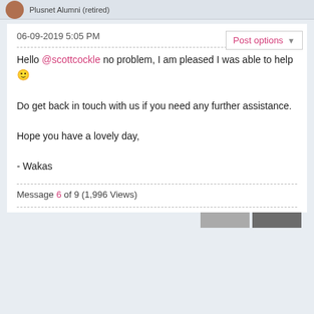Plusnet Alumni (retired)
06-09-2019 5:05 PM
Post options
Hello @scottcockle no problem, I am pleased I was able to help 🙂
Do get back in touch with us if you need any further assistance.
Hope you have a lovely day,
- Wakas
Message 6 of 9 (1,996 Views)